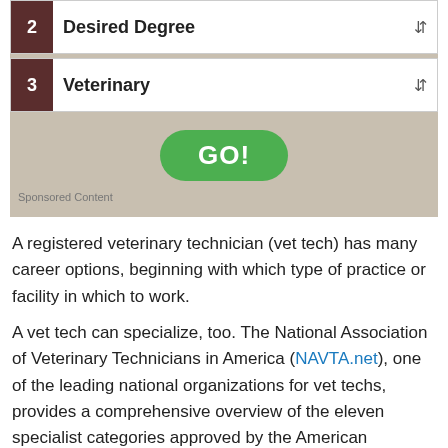[Figure (screenshot): UI widget showing step 2 'Desired Degree' dropdown and step 3 'Veterinary' dropdown with a green GO! button, on a tan background. Labeled 'Sponsored Content'.]
A registered veterinary technician (vet tech) has many career options, beginning with which type of practice or facility in which to work.
A vet tech can specialize, too. The National Association of Veterinary Technicians in America (NAVTA.net), one of the leading national organizations for vet techs, provides a comprehensive overview of the eleven specialist categories approved by the American Veterinary Medical Association, one of which is the